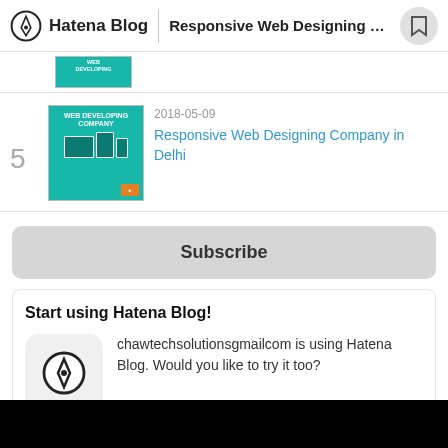Hatena Blog | Responsive Web Designing Compa...
[Figure (screenshot): Partial thumbnail of a web development company image at top]
5 | 2018-05-09 | Responsive Web Designing Company in Delhi
Subscribe
Start using Hatena Blog!
chawtechsolutionsgmailcom is using Hatena Blog. Would you like to try it too?